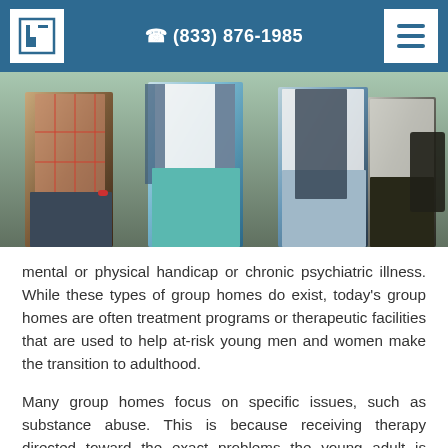(833) 876-1985
[Figure (photo): Group of young people standing together outdoors, showing torsos and lower bodies, wearing casual clothing including plaid shirt, teal pants, jeans]
mental or physical handicap or chronic psychiatric illness. While these types of group homes do exist, today’s group homes are often treatment programs or therapeutic facilities that are used to help at-risk young men and women make the transition to adulthood.
Many group homes focus on specific issues, such as substance abuse. This is because receiving therapy directed toward the exact problems the young adult is coping with increases engagement and frequently leads to enhanced success du the treatment process.